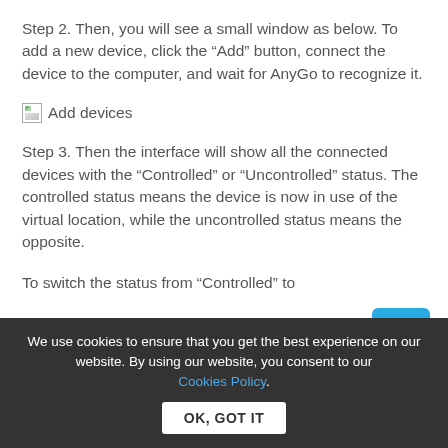Step 2. Then, you will see a small window as below. To add a new device, click the “Add” button, connect the device to the computer, and wait for AnyGo to recognize it.
[Figure (screenshot): Broken image placeholder with alt text 'Add devices']
Step 3. Then the interface will show all the connected devices with the “Controlled” or “Uncontrolled” status. The controlled status means the device is now in use of the virtual location, while the uncontrolled status means the opposite.
To switch the status from “Controlled” to
We use cookies to ensure that you get the best experience on our website. By using our website, you consent to our Cookies Policy.